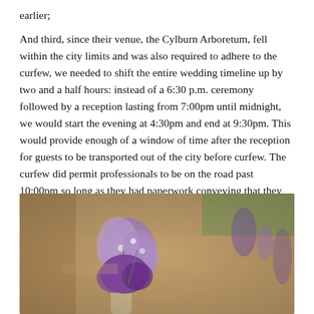earlier;
And third, since their venue, the Cylburn Arboretum, fell within the city limits and was also required to adhere to the curfew, we needed to shift the entire wedding timeline up by two and a half hours: instead of a 6:30 p.m. ceremony followed by a reception lasting from 7:00pm until midnight, we would start the evening at 4:30pm and end at 9:30pm. This would provide enough of a window of time after the reception for guests to be transported out of the city before curfew. The curfew did permit professionals to be on the road past 10:00pm so long as they had paperwork conveying that they were out for work purposes.
[Figure (photo): A photograph showing purple and lavender flowers (sweet peas and statice) in a vase at a wedding ceremony, with wooden chairs and purple ribbon decorations visible in the blurred background.]